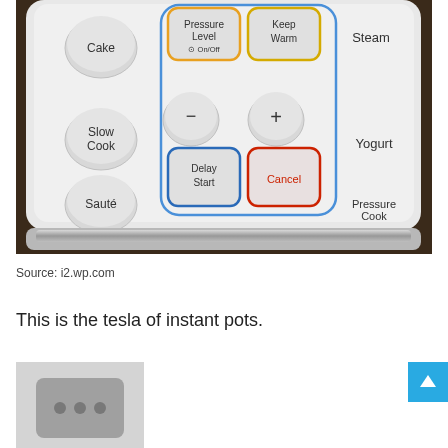[Figure (photo): Close-up photo of an Instant Pot control panel showing buttons: Cake, Slow Cook, Saute on the left; Pressure Level On/Off (orange border), minus button, Delay Start (blue border) in the center-left; Keep Warm (yellow border), plus button, Cancel (red border, red text) in the center-right; Steam, Yogurt, Pressure Cook on the right. Website www.InstantPot.com shown at bottom.]
Source: i2.wp.com
This is the tesla of instant pots.
[Figure (photo): Partial view of another device/appliance, showing a gray panel with three dots, partially cropped at bottom of page.]